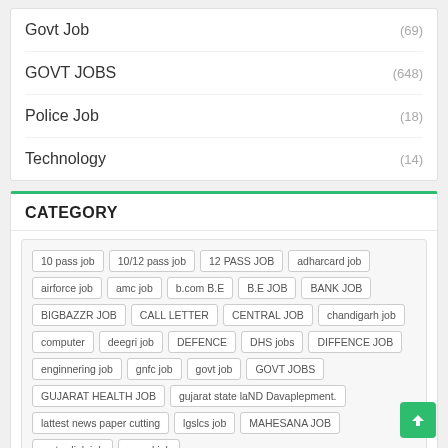Govt Job (69)
GOVT JOBS (648)
Police Job (18)
Technology (14)
CATEGORY
10 pass job
10/12 pass job
12 PASS JOB
adharcard job
airforce job
amc job
b.com B.E
B.E JOB
BANK JOB
BIGBAZZR JOB
CALL LETTER
CENTRAL JOB
chandigarh job
computer
deegri job
DEFENCE
DHS jobs
DIFFENCE JOB
enginnering job
gnfc job
govt job
GOVT JOBS
GUJARAT HEALTH JOB
gujarat state laND Davaplepment.
lattest news paper cutting
lgslcs job
MAHESANA JOB
metro-link job
mgvcl job